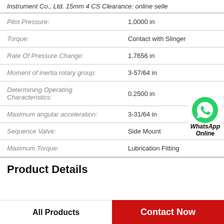Instrument Co., Ltd. 15mm 4 CS Clearance: online selle
| Property | Value |
| --- | --- |
| Pilot Pressure: | 1.0000 in |
| Torque: | Contact with Slinger |
| Rate Of Pressure Change: | 1.7656 in |
| Moment of inertia rotary group: | 3-57/64 in |
| Determining Operating Characteristics: | 0.2500 in |
| Maximum angular acceleration: | 3-31/64 in |
| Sequence Valve: | Side Mount |
| Maximum Torque: | Lubrication Fitting |
[Figure (logo): WhatsApp Online green phone icon with text 'WhatsApp Online']
Product Details
All Products
Contact Now